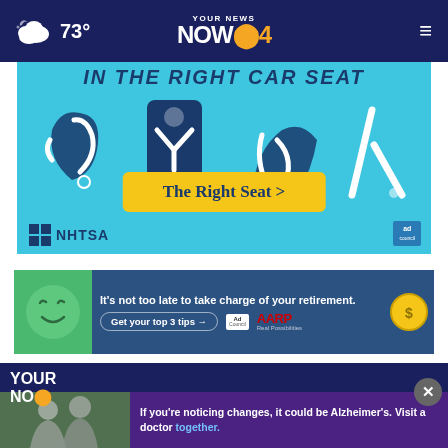73° | YOUR NEWS NOW 4
[Figure (infographic): NHTSA car seat advertisement on cyan/blue background with car seat type icons and 'The Right Seat >' yellow button. NHTSA logo bottom left, ad council badge bottom right.]
[Figure (infographic): AARP advertisement: 'It's not too late to take charge of your retirement. Get your top 3 tips.' with green cartoon face left, AARP logo, Ad Council badge, and gold coin icon. Dark blue background.]
[Figure (infographic): Alzheimer's awareness popup ad: 'If you're noticing changes, it could be Alzheimer's. Visit a doctor together.' Purple background, photo of two men, close button.]